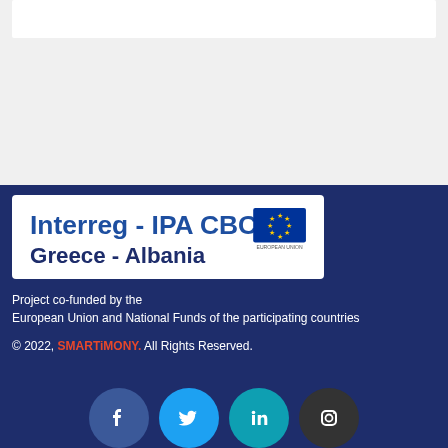[Figure (logo): Interreg - IPA CBC Greece - Albania logo with EU flag]
Project co-funded by the
European Union and National Funds of the participating countries
© 2022, SMARTiMONY. All Rights Reserved.
[Figure (illustration): Social media icons: Facebook, Twitter, LinkedIn, Instagram]